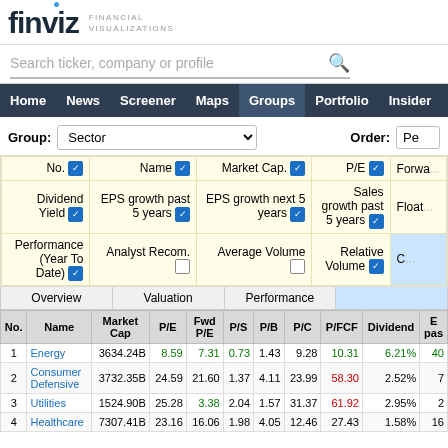finviz · FINANCIAL VISUALIZATIONS
Search ticker, company or profile
Home | News | Screener | Maps | Groups | Portfolio | Insider | Futures
Group: Sector   Order: Pe
| No. | Name | Market Cap. | P/E | Forwa... | Dividend Yield | EPS growth past 5 years | EPS growth next 5 years | Sales growth past 5 years | Float | Performance (Year To Date) | Analyst Recom. | Average Volume | Relative Volume | C... |
| --- | --- | --- | --- | --- | --- | --- | --- | --- | --- | --- | --- | --- | --- | --- |
| No. | Name | Market Cap | P/E | Fwd P/E | P/S | P/B | P/C | P/FCF | Dividend | E past... |
| --- | --- | --- | --- | --- | --- | --- | --- | --- | --- | --- |
| 1 | Energy | 3634.24B | 8.59 | 7.31 | 0.73 | 1.43 | 9.28 | 10.31 | 6.21% | 40 |
| 2 | Consumer Defensive | 3732.35B | 24.59 | 21.60 | 1.37 | 4.11 | 23.99 | 58.30 | 2.52% | 7 |
| 3 | Utilities | 1524.90B | 25.28 | 3.38 | 2.04 | 1.57 | 31.37 | 61.92 | 2.95% | 2 |
| 4 | Healthcare | 7307.41B | 23.16 | 16.06 | 1.98 | 4.05 | 12.46 | 27.43 | 1.58% | 16 |